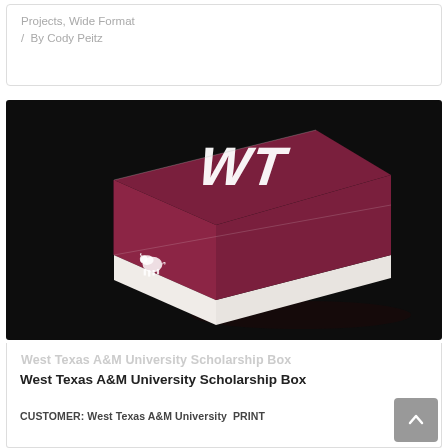Projects, Wide Format / By Cody Peitz
[Figure (photo): A maroon/dark red corrugated cardboard box with white 'WT' lettering on top and a small buffalo/bison logo on the side, photographed on a dark background.]
West Texas A&M University Scholarship Box
West Texas A&M University Scholarship Box
CUSTOMER: West Texas A&M University PRINT